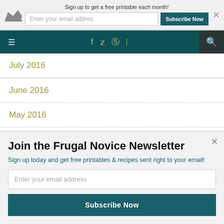Sign up to get a free printable each month!
Enter your email addres
Subscribe Now
July 2016
June 2016
May 2016
April 2016
March 2016
Join the Frugal Novice Newsletter
Sign up today and get free printables & recipes sent right to your email!
Enter your email address
Subscribe Now